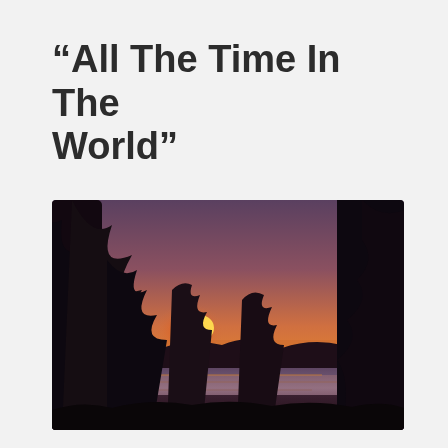“All The Time In The World”
[Figure (photo): Sunset photograph taken through silhouetted conifer trees, showing an orange glowing sun near the horizon with warm orange and purple sky, and a body of water visible in the background through the trees.]